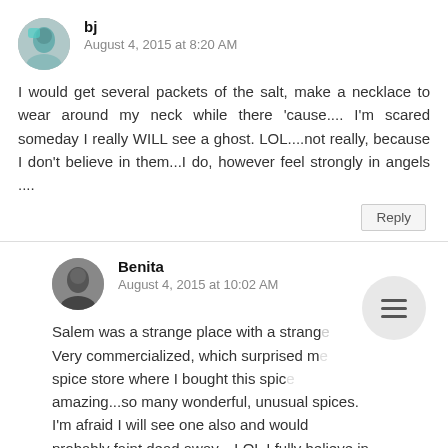bj
August 4, 2015 at 8:20 AM
I would get several packets of the salt, make a necklace to wear around my neck while there 'cause.... I'm scared someday I really WILL see a ghost. LOL....not really, because I don't believe in them...I do, however feel strongly in angels ....
Reply
Benita
August 4, 2015 at 10:02 AM
Salem was a strange place with a strange... Very commercialized, which surprised m... spice store where I bought this spice... amazing...so many wonderful, unusual spices. I'm afraid I will see one also and would probably faint dead away....LOL I fully believe in